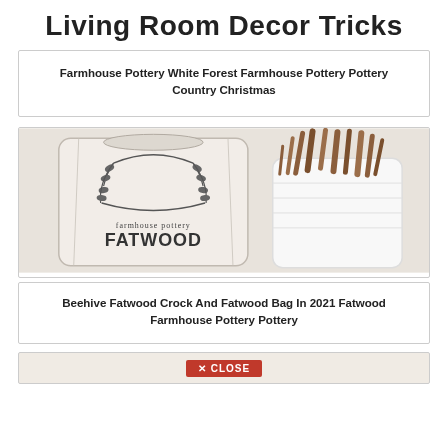Living Room Decor Tricks
Farmhouse Pottery White Forest Farmhouse Pottery Pottery Country Christmas
[Figure (photo): A white canvas bag labeled 'farmhouse pottery FATWOOD' with a laurel wreath logo, next to a white ceramic beehive crock filled with fatwood sticks, on a light background.]
Beehive Fatwood Crock And Fatwood Bag In 2021 Fatwood Farmhouse Pottery Pottery
[Figure (photo): Partial view of another image at the bottom of the page, with a red CLOSE button overlay.]